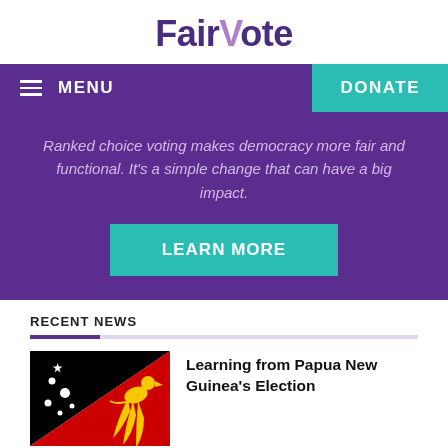FairVote
MENU  DONATE
Ranked choice voting makes democracy more fair and functional. It's a simple change that can have a big impact.
LEARN MORE
RECENT NEWS
[Figure (photo): Papua New Guinea flag — diagonal black and red sections with bird of paradise and southern cross stars]
Learning from Papua New Guinea's Election
[Figure (photo): People photo — local democracy reform article thumbnail]
Local Democracy Reform